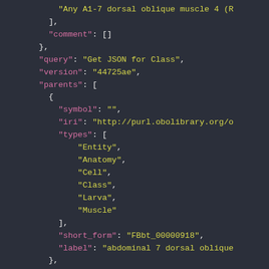[Figure (screenshot): JSON code snippet displayed in a dark-themed code editor. Shows JSON fields including a string value starting with 'Any A1-7 dorsal oblique muscle 4 (R', a comment array, query, version, parents array with symbol, iri, types (Entity, Anatomy, Cell, Class, Larva, Muscle), short_form, and label fields.]